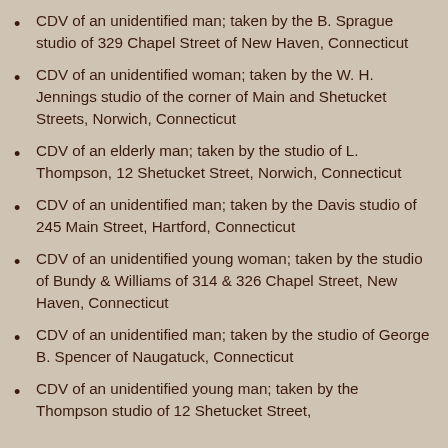CDV of an unidentified man; taken by the B. Sprague studio of 329 Chapel Street of New Haven, Connecticut
CDV of an unidentified woman; taken by the W. H. Jennings studio of the corner of Main and Shetucket Streets, Norwich, Connecticut
CDV of an elderly man; taken by the studio of L. Thompson, 12 Shetucket Street, Norwich, Connecticut
CDV of an unidentified man; taken by the Davis studio of 245 Main Street, Hartford, Connecticut
CDV of an unidentified young woman; taken by the studio of Bundy & Williams of 314 & 326 Chapel Street, New Haven, Connecticut
CDV of an unidentified man; taken by the studio of George B. Spencer of Naugatuck, Connecticut
CDV of an unidentified young man; taken by the Thompson studio of 12 Shetucket Street,